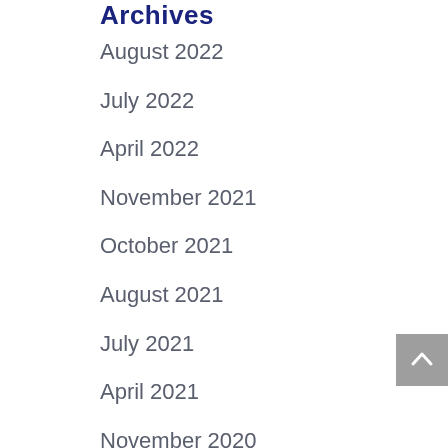Archives
August 2022
July 2022
April 2022
November 2021
October 2021
August 2021
July 2021
April 2021
November 2020
October 2020
August 2020
July 2020